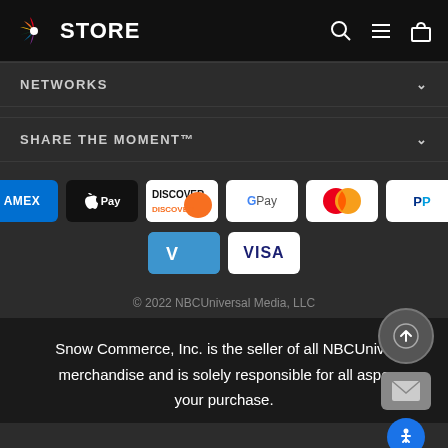NBC STORE
NETWORKS
SHARE THE MOMENT™
[Figure (logo): Payment method logos: Amazon Pay, AMEX, Apple Pay, Discover, Google Pay, Mastercard, PayPal, OPay, Venmo, Visa]
© 2022 NBCUniversal Media, LLC
Snow Commerce, Inc. is the seller of all NBCUnive… merchandise and is solely responsible for all aspe… your purchase.